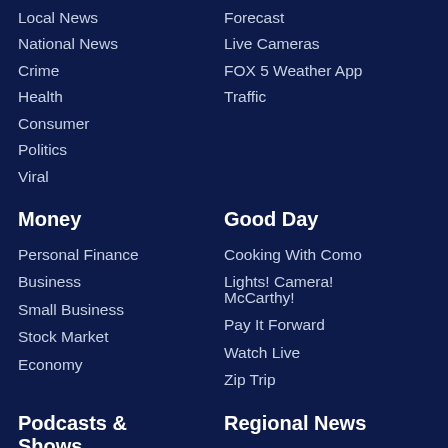Local News
National News
Crime
Health
Consumer
Politics
Viral
Forecast
Live Cameras
FOX 5 Weather App
Traffic
Money
Personal Finance
Business
Small Business
Stock Market
Economy
Good Day
Cooking With Como
Lights! Camera! McCarthy!
Pay It Forward
Watch Live
Zip Trip
Podcasts & Shows
Regional News
New York News - FOX 5